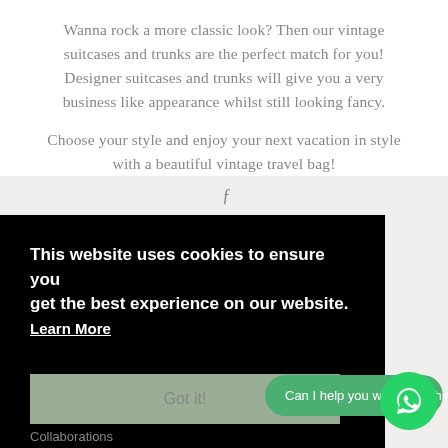Wanna rock a more classic look? Then our vintage suitcases and trunks are the perfect match for you! Designer suitcases and trunks will give you a very business like appearance whilst still looking fancy.
Choose your style and enjoy your next vacation in style with a beautiful vintage travel bag!
This website uses cookies to ensure you get the best experience on our website. Learn More
Can I help you with something?
Collaborations